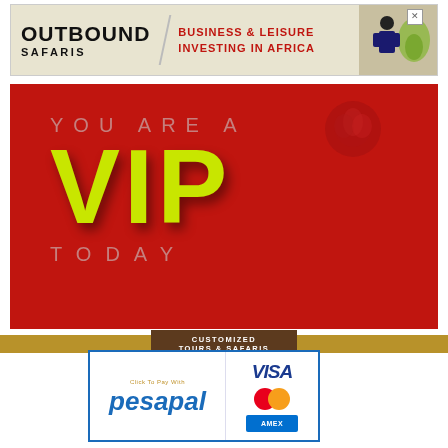[Figure (logo): Outbound Safaris banner ad - Business & Leisure Investing in Africa]
[Figure (infographic): Red background promotional banner: YOU ARE A VIP TODAY in yellow/grey text]
[Figure (infographic): Customized Tours & Safaris footer bar with pesapal payment logos including VISA, Mastercard, Amex]